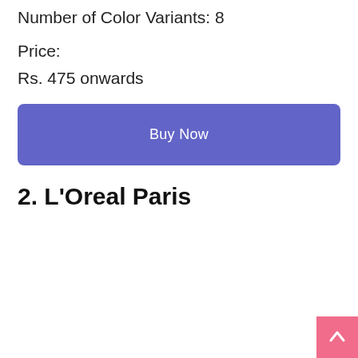Number of Color Variants: 8
Price:
Rs. 475 onwards
Buy Now
2. L'Oreal Paris